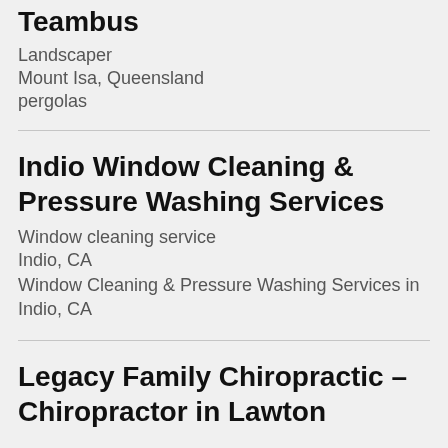Teambus
Landscaper
Mount Isa, Queensland
pergolas
Indio Window Cleaning & Pressure Washing Services
Window cleaning service
Indio, CA
Window Cleaning & Pressure Washing Services in Indio, CA
Legacy Family Chiropractic – Chiropractor in Lawton